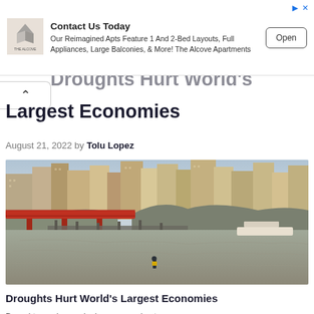[Figure (other): Advertisement banner for The Alcove Apartments with logo, headline 'Contact Us Today', description text, and Open button]
Largest Economies
August 21, 2022 by Tolu Lopez
[Figure (photo): Aerial/ground-level photo of a dry riverbed in Chongqing China with a red bridge, dense urban skyline, and a lone person standing on the parched riverbed]
Droughts Hurt World's Largest Economies
Droughts are increasingly common due to...